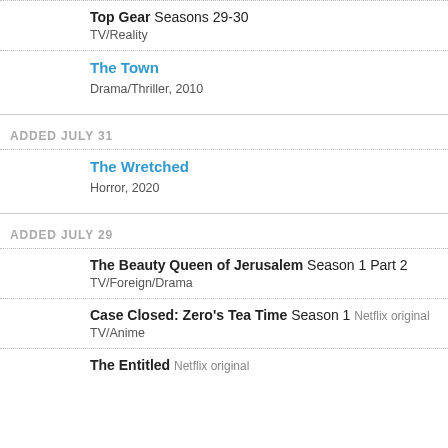Top Gear Seasons 29-30
TV/Reality
The Town
Drama/Thriller, 2010
ADDED JULY 31
The Wretched
Horror, 2020
ADDED JULY 29
The Beauty Queen of Jerusalem Season 1 Part 2
TV/Foreign/Drama
Case Closed: Zero's Tea Time Season 1 Netflix original
TV/Anime
The Entitled Netflix original